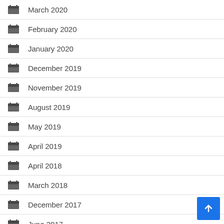March 2020
February 2020
January 2020
December 2019
November 2019
August 2019
May 2019
April 2019
April 2018
March 2018
December 2017
June 2017
May 2017